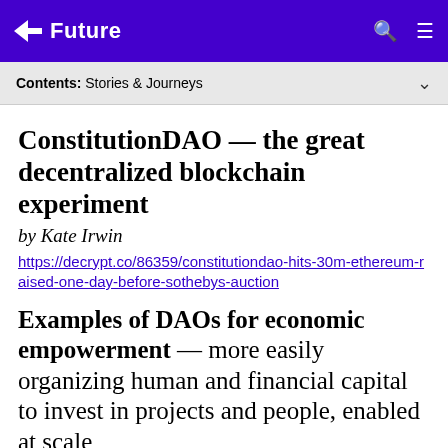Future
Contents: Stories & Journeys
ConstitutionDAO — the great decentralized blockchain experiment
by Kate Irwin
https://decrypt.co/86359/constitutiondao-hits-30m-ethereum-raised-one-day-before-sothebys-auction
Examples of DAOs for economic empowerment — more easily organizing human and financial capital to invest in projects and people, enabled at scale
by SyndicateDAO